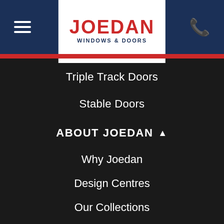[Figure (logo): Joedan Windows & Doors logo with red text on white background, in the center of a dark blue navigation header bar]
Triple Track Doors
Stable Doors
ABOUT JOEDAN
Why Joedan
Design Centres
Our Collections
Case Studies
Galleries
Customer Reviews
Blog
Careers At Joedan